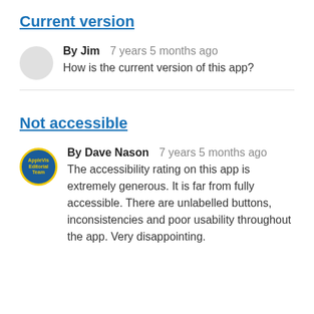Current version
By Jim   7 years 5 months ago
How is the current version of this app?
Not accessible
By Dave Nason   7 years 5 months ago
The accessibility rating on this app is extremely generous. It is far from fully accessible. There are unlabelled buttons, inconsistencies and poor usability throughout the app. Very disappointing.